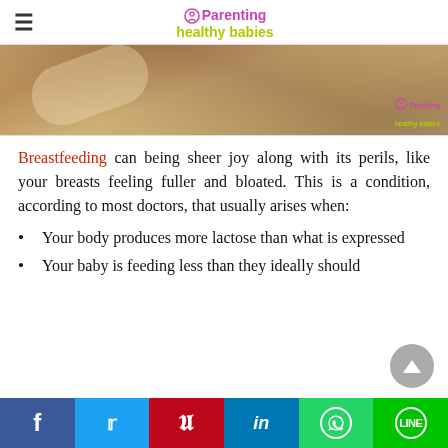Parenting healthy babies
[Figure (photo): Close-up photo of a woman breastfeeding, warm toned image with Parenting Healthy Babies watermark in bottom right corner]
Breastfeeding can being sheer joy along with its perils, like your breasts feeling fuller and bloated. This is a condition, according to most doctors, that usually arises when:
Your body produces more lactose than what is expressed
Your baby is feeding less than they ideally should